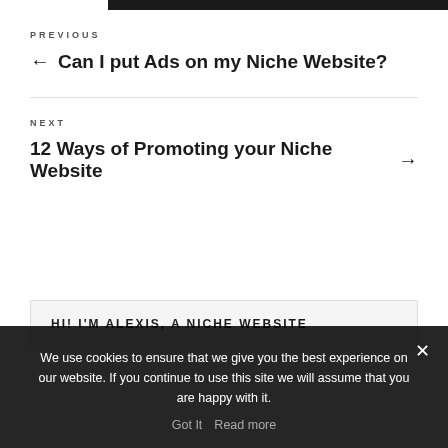PREVIOUS
← Can I put Ads on my Niche Website?
NEXT
12 Ways of Promoting your Niche Website →
HI! I'M ALEXIS, A NICHE WEBSITE
We use cookies to ensure that we give you the best experience on our website. If you continue to use this site we will assume that you are happy with it.
Got It   Read more